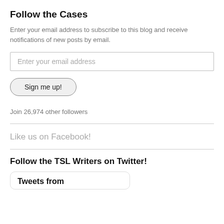Follow the Cases
Enter your email address to subscribe to this blog and receive notifications of new posts by email.
Enter your email address
Sign me up!
Join 26,974 other followers
Like us on Facebook!
Follow the TSL Writers on Twitter!
Tweets from